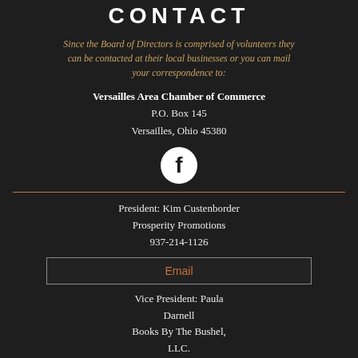CONTACT
Since the Board of Directors is comprised of volunteers they can be contacted at their local businesses or you can mail your correspondence to:
Versailles Area Chamber of Commerce
P.O. Box 145
Versailles, Ohio 45380
[Figure (logo): Facebook logo icon in white circle on dark background]
President: Kim Custenborder
Prosperity Promotions
937-214-1126
Email
Vice President: Paula Darnell
Books By The Bushel, LLC.
937-526-0062
Email
Treasurer: Matt Poeppelman
C.F. Poeppelman, Inc/Pepcon
937-448-2191